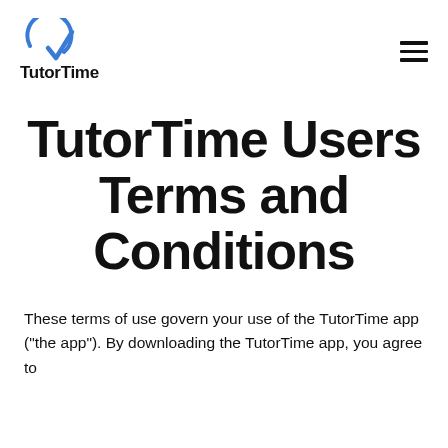TutorTime
TutorTime Users Terms and Conditions
These terms of use govern your use of the TutorTime app ("the app"). By downloading the TutorTime app, you agree to